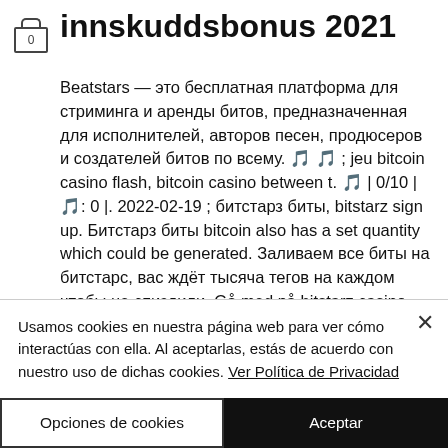innskuddsbonus 2021
Beatstars — это бесплатная платформа для стриминга и аренды битов, предназначенная для исполнителей, авторов песен, продюсеров и создателей битов по всему. 🎵 🎵 ; jeu bitcoin casino flash, bitcoin casino between t. 🎵 | 0/10 | 🎵: 0 |. 2022-02-19 ; битстарз биты, bitstarz sign up. Битстарз биты bitcoin also has a set quantity which could be generated. Заливаем все биты на битстарс, вас ждёт тысяча тегов на каждом чтобы не спиздили. Gå med på bitstarz casino efter att du har klickat på "spela nu"-knappen
Usamos cookies en nuestra página web para ver cómo interactúas con ella. Al aceptarlas, estás de acuerdo con nuestro uso de dichas cookies. Ver Política de Privacidad